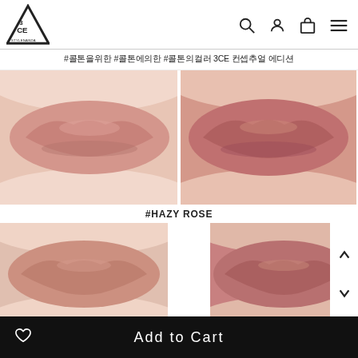3CE STYLENANDA
#콜톤을위한 #콜톤에의한 #콜톤의컬러 3CE 컨셉추얼 에디션
[Figure (photo): Two close-up photos of lips wearing matte lipstick side by side. Left shows a dusty mauve-pink shade, right shows a deeper rosy-pink shade. Label: #HAZY ROSE]
#HAZY ROSE
[Figure (photo): Two close-up photos of lips wearing matte lipstick side by side, partially cropped at bottom of page. Similar shades to above.]
Add to Cart